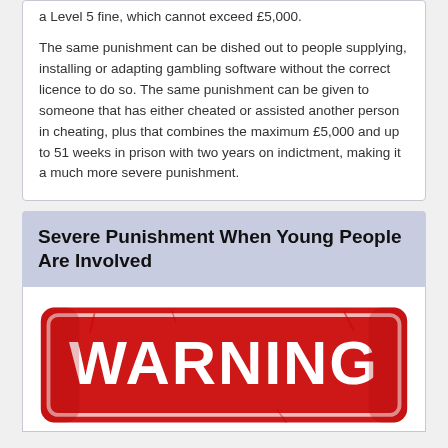a Level 5 fine, which cannot exceed £5,000. The same punishment can be dished out to people supplying, installing or adapting gambling software without the correct licence to do so. The same punishment can be given to someone that has either cheated or assisted another person in cheating, plus that combines the maximum £5,000 and up to 51 weeks in prison with two years on indictment, making it a much more severe punishment.
Severe Punishment When Young People Are Involved
[Figure (illustration): A red distressed rubber stamp style graphic reading WARNING]